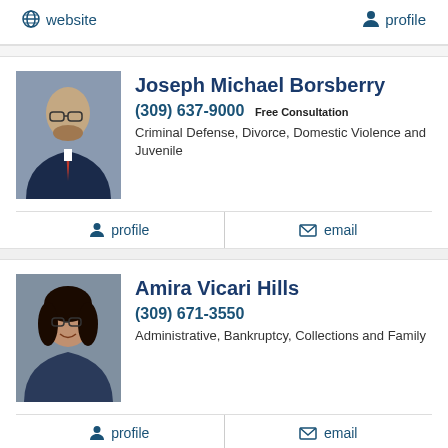website  |  profile
[Figure (photo): Professional headshot of Joseph Michael Borsberry, a man in a suit with glasses]
Joseph Michael Borsberry
(309) 637-9000 Free Consultation
Criminal Defense, Divorce, Domestic Violence and Juvenile
profile  |  email
[Figure (photo): Professional headshot of Amira Vicari Hills, a woman with glasses smiling]
Amira Vicari Hills
(309) 671-3550
Administrative, Bankruptcy, Collections and Family
profile  |  email
NEXT